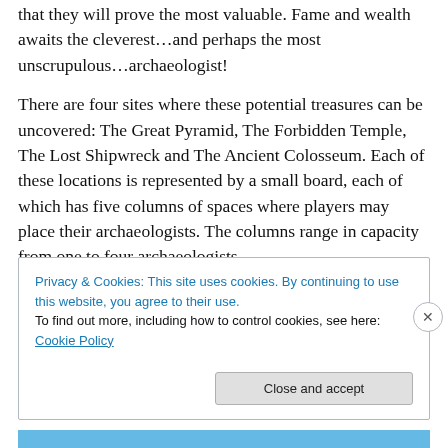that they will prove the most valuable. Fame and wealth awaits the cleverest…and perhaps the most unscrupulous…archaeologist!
There are four sites where these potential treasures can be uncovered: The Great Pyramid, The Forbidden Temple, The Lost Shipwreck and The Ancient Colosseum. Each of these locations is represented by a small board, each of which has five columns of spaces where players may place their archaeologists. The columns range in capacity from one to four archaeologists.
Privacy & Cookies: This site uses cookies. By continuing to use this website, you agree to their use.
To find out more, including how to control cookies, see here: Cookie Policy
Close and accept